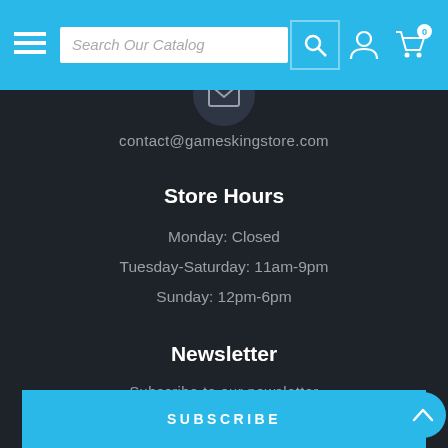Search Our Catalog
contact@gameskingstore.com
Store Hours
Monday: Closed
Tuesday-Saturday: 11am-9pm
Sunday: 12pm-6pm
Newsletter
Subscribe to our newsletter
Enter Your E-Mail
SUBSCRIBE